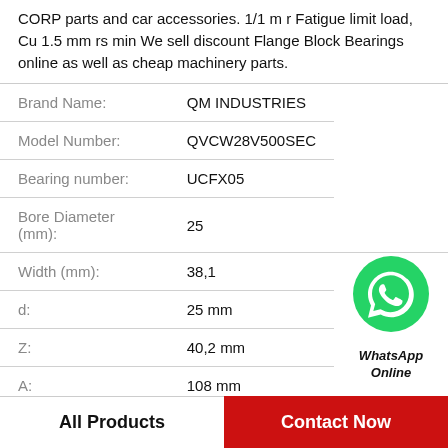CORP parts and car accessories. 1/1 m r Fatigue limit load, Cu 1.5 mm rs min We sell discount Flange Block Bearings online as well as cheap machinery parts.
| Property | Value |
| --- | --- |
| Brand Name: | QM INDUSTRIES |
| Model Number: | QVCW28V500SEC |
| Bearing number: | UCFX05 |
| Bore Diameter (mm): | 25 |
| Width (mm): | 38,1 |
| d: | 25 mm |
| Z: | 40,2 mm |
| A: | 108 mm |
[Figure (logo): WhatsApp contact icon — green circle with white phone handset, with text 'WhatsApp Online' below in bold italic]
All Products   Contact Now